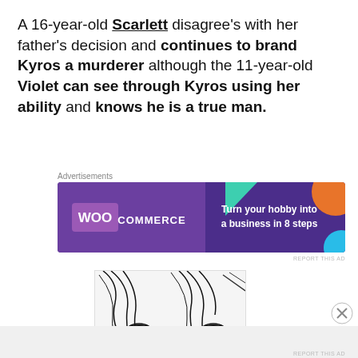A 16-year-old Scarlett disagree's with her father's decision and continues to brand Kyros a murderer although the 11-year-old Violet can see through Kyros using her ability and knows he is a true man.
Advertisements
[Figure (illustration): WooCommerce advertisement banner: purple background with teal and orange triangle decorations, WooCommerce logo and text 'Turn your hobby into a business in 8 steps']
REPORT THIS AD
[Figure (illustration): Manga-style illustration showing a close-up of an anime character's eyes and hair in black and white line art]
Advertisements
REPORT THIS AD